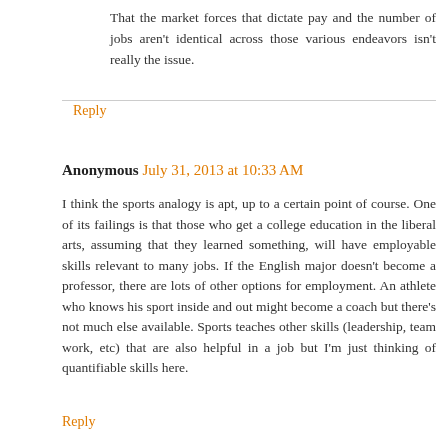That the market forces that dictate pay and the number of jobs aren't identical across those various endeavors isn't really the issue.
Reply
Anonymous July 31, 2013 at 10:33 AM
I think the sports analogy is apt, up to a certain point of course. One of its failings is that those who get a college education in the liberal arts, assuming that they learned something, will have employable skills relevant to many jobs. If the English major doesn't become a professor, there are lots of other options for employment. An athlete who knows his sport inside and out might become a coach but there's not much else available. Sports teaches other skills (leadership, team work, etc) that are also helpful in a job but I'm just thinking of quantifiable skills here.
Reply